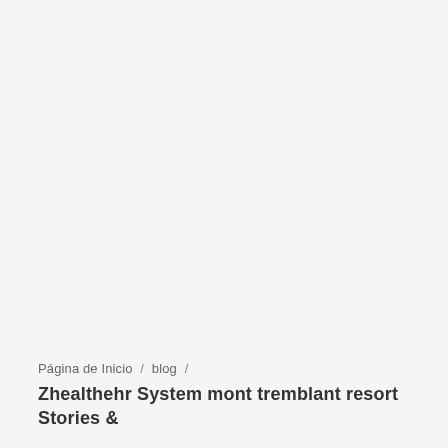Página de Inicio / blog /
Zhealthehr System mont tremblant resort Stories &